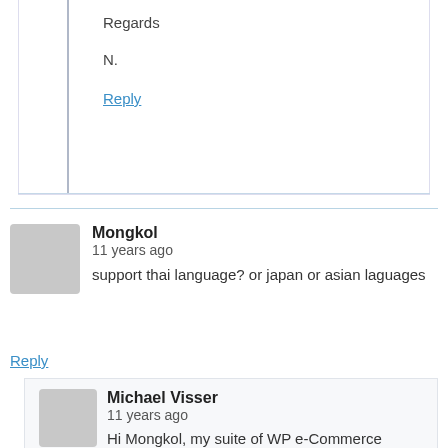Regards

N.
Reply
Mongkol
11 years ago
support thai language? or japan or asian laguages
Reply
Michael Visser
11 years ago
Hi Mongkol, my suite of WP e-Commerce Plugins displays in U.S. English by default, that said